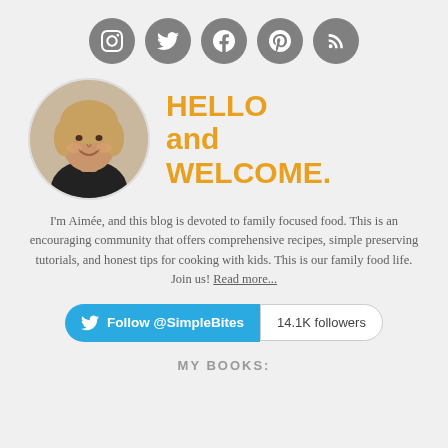[Figure (infographic): Social media icons row: Instagram, Twitter, Facebook, Pinterest, RSS feed — all grey circular icons]
[Figure (photo): Circular profile photo of a smiling woman with shoulder-length light brown hair wearing a black top]
HELLO and WELCOME.
I'm Aimée, and this blog is devoted to family focused food. This is an encouraging community that offers comprehensive recipes, simple preserving tutorials, and honest tips for cooking with kids. This is our family food life. Join us! Read more...
Follow @SimpleBites  14.1K followers
MY BOOKS: